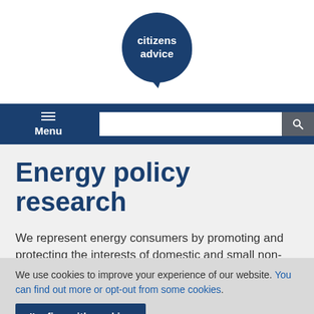[Figure (logo): Citizens Advice logo — dark navy blue speech bubble circle with white text 'citizens advice']
Menu [navigation bar with search input and search button]
Energy policy research
We represent energy consumers by promoting and protecting the interests of domestic and small non-
We use cookies to improve your experience of our website. You can find out more or opt-out from some cookies.
I'm fine with cookies